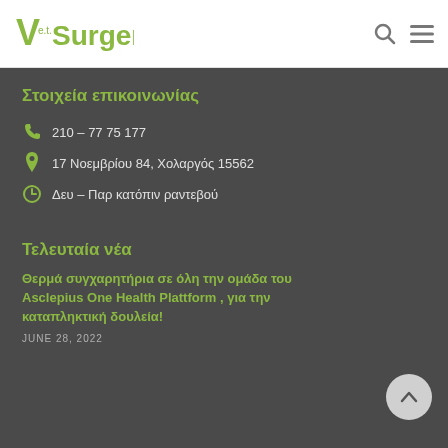Vet Surgery — logo, search and menu icons
Στοιχεία επικοινωνίας
210 – 77 75 177
17 Νοεμβρίου 84, Χολαργός 15562
Δευ – Παρ κατόπιν ραντεβού
Τελευταία νέα
Θερμά συγχαρητήρια σε όλη την ομάδα του Asclepius One Health Plattform , για την καταπληκτική δουλεία!
JUNE 28, 2022